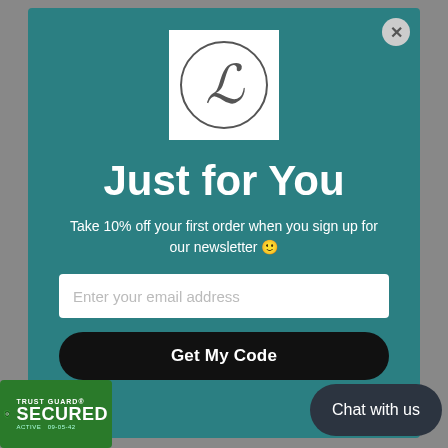[Figure (logo): Cursive L letter inside a circle, on white square background]
Just for You
Take 10% off your first order when you sign up for our newsletter 🙂
Enter your email address
Get My Code
Chat with us
[Figure (logo): Trust Guard Secured badge - green shield with lock icon]